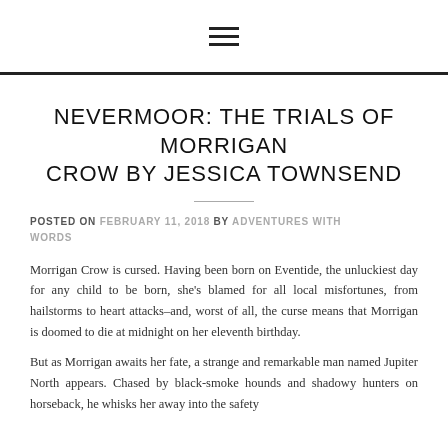≡
NEVERMOOR: THE TRIALS OF MORRIGAN CROW BY JESSICA TOWNSEND
POSTED ON FEBRUARY 11, 2018 BY ADVENTURES WITH WORDS
Morrigan Crow is cursed. Having been born on Eventide, the unluckiest day for any child to be born, she's blamed for all local misfortunes, from hailstorms to heart attacks–and, worst of all, the curse means that Morrigan is doomed to die at midnight on her eleventh birthday.
But as Morrigan awaits her fate, a strange and remarkable man named Jupiter North appears. Chased by black-smoke hounds and shadowy hunters on horseback, he whisks her away into the safety